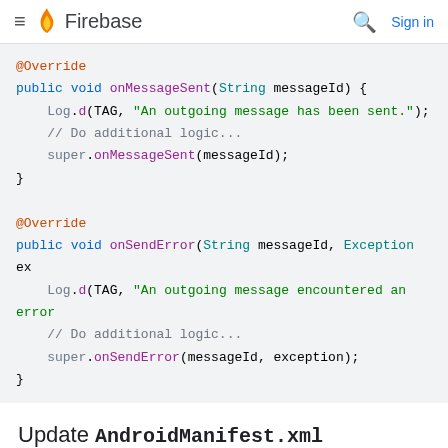Firebase
[Figure (screenshot): Code block showing Java @Override methods onMessageSent and onSendError with syntax highlighting on a light gray background]
Update AndroidManifest.xml
Once your custom classes have been written, they must be included in the AndroidManifest.xml to take effect.